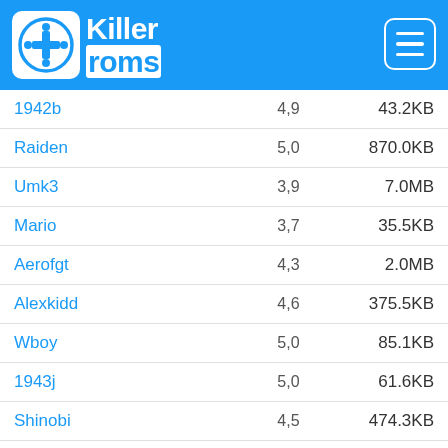Killer roms
| Name | Rating | Size |
| --- | --- | --- |
| 1942b | 4,9 | 43.2KB |
| Raiden | 5,0 | 870.0KB |
| Umk3 | 3,9 | 7.0MB |
| Mario | 3,7 | 35.5KB |
| Aerofgt | 4,3 | 2.0MB |
| Alexkidd | 4,6 | 375.5KB |
| Wboy | 5,0 | 85.1KB |
| 1943j | 5,0 | 61.6KB |
| Shinobi | 4,5 | 474.3KB |
| 64streej | 4,4 | 106.0KB |
| Baddudes | 4,2 | 444.1KB |